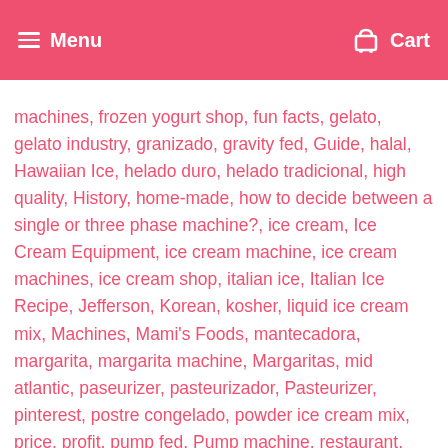Menu  Cart
machines, frozen yogurt shop, fun facts, gelato, gelato industry, granizado, gravity fed, Guide, halal, Hawaiian Ice, helado duro, helado tradicional, high quality, History, home-made, how to decide between a single or three phase machine?, ice cream, Ice Cream Equipment, ice cream machine, ice cream machines, ice cream shop, italian ice, Italian Ice Recipe, Jefferson, Korean, kosher, liquid ice cream mix, Machines, Mami's Foods, mantecadora, margarita, margarita machine, Margaritas, mid atlantic, paseurizer, pasteurizador, Pasteurizer, pinterest, postre congelado, powder ice cream mix, price, profit, pump fed, Pump machine, restaurant, self-serve, shaved ice, Single Phase, slices concession, Slices concession news, Slicesconcession, slush, slush machine, Slushie, slushy, slushy machine, slushy machine maintenance, soft, soft serve, soft serve machine, soft serve machines, sorbet, sorbet machines, sorbete, Specifications, Starter Space, steolting, stoelting, strawberry farms, students, summer, taylor, Technogel, Three Phase, throwback, united states, USA, used frozen yogurt machines, used ice cream machine, used machine, used soft